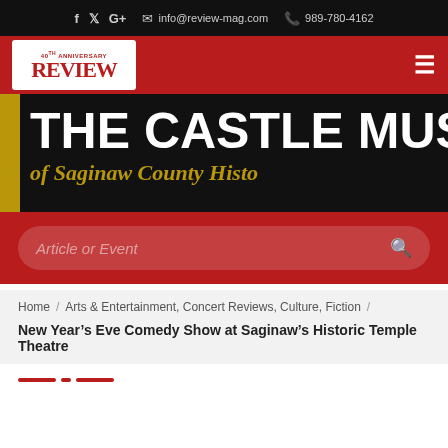f  t  G+   info@review-mag.com   989-780-4162
[Figure (logo): Review magazine logo — white box with red stylized REVIEW text and small 40th anniversary banner]
[Figure (banner): THE CASTLE MUSEUM of Saginaw County Histo — black background banner with gold bar on left, white bold uppercase title and gold italic subtitle]
Article or Event
Home / Arts & Entertainment, Concert Reviews, Culture, Fiction /
New Year's Eve Comedy Show at Saginaw's Historic Temple Theatre